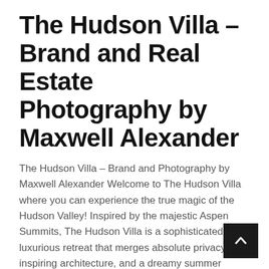The Hudson Villa – Brand and Real Estate Photography by Maxwell Alexander
The Hudson Villa – Brand and Photography by Maxwell Alexander Welcome to The Hudson Villa where you can experience the true magic of the Hudson Valley! Inspired by the majestic Aspen Summits, The Hudson Villa is a sophisticated and luxurious retreat that merges absolute privacy, inspiring architecture, and a dreamy summer paradise. [...]